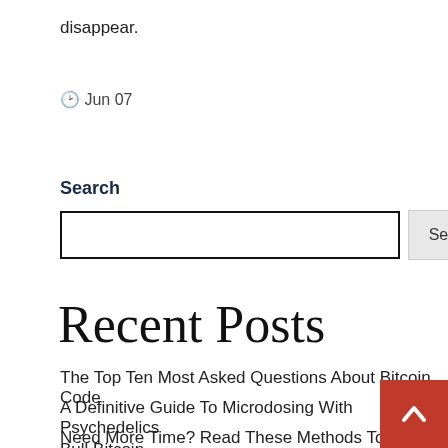disappear.
🕐 Jun 07
Search
Recent Posts
The Top Ten Most Asked Questions About Bitcoin Code
A Definitive Guide To Microdosing With Psychedelics
Need More Time? Read These Methods To Eliminate Bull Bitcoin